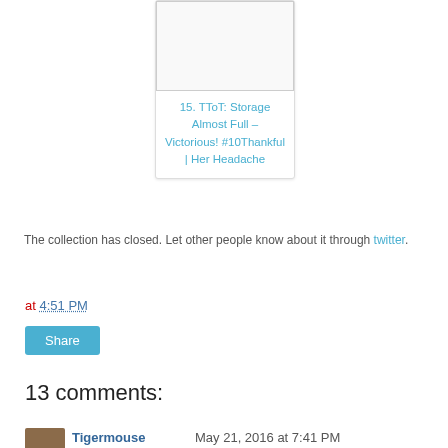[Figure (other): Blog post card with placeholder image and link text '15. TToT: Storage Almost Full – Victorious! #10Thankful | Her Headache']
The collection has closed. Let other people know about it through twitter.
at 4:51 PM
Share
13 comments:
Tigermouse  May 21, 2016 at 7:41 PM